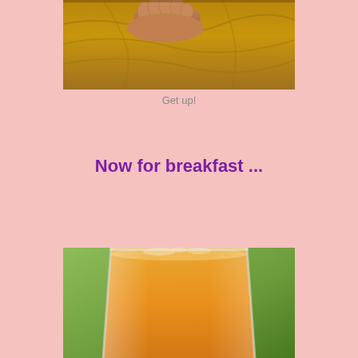[Figure (photo): Close-up photo of feet/toes resting on a bed with golden/tan sheets]
Get up!
Now for breakfast ...
[Figure (photo): Close-up photo of a glass of orange juice with green background]